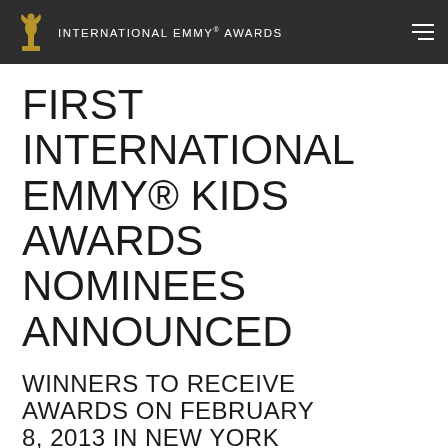INTERNATIONAL EMMY® AWARDS
FIRST INTERNATIONAL EMMY® KIDS AWARDS NOMINEES ANNOUNCED
WINNERS TO RECEIVE AWARDS ON FEBRUARY 8, 2013 IN NEW YORK CITY
Cannes/MIPCOM, October 8, 2012 –